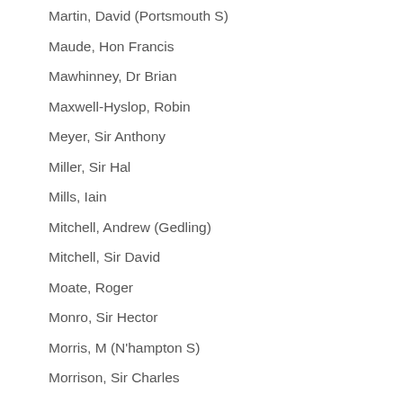Martin, David (Portsmouth S)
Maude, Hon Francis
Mawhinney, Dr Brian
Maxwell-Hyslop, Robin
Meyer, Sir Anthony
Miller, Sir Hal
Mills, Iain
Mitchell, Andrew (Gedling)
Mitchell, Sir David
Moate, Roger
Monro, Sir Hector
Morris, M (N'hampton S)
Morrison, Sir Charles
Moss, Malcolm
Neale, Gerrard
Neubert, Michael